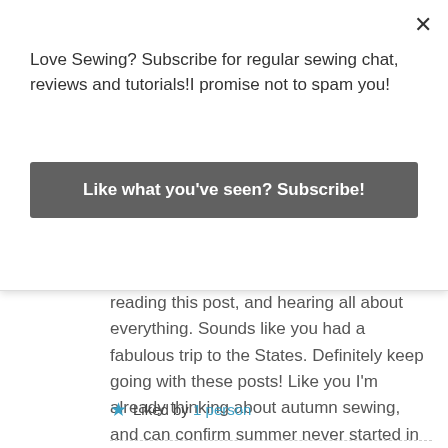Love Sewing? Subscribe for regular sewing chat, reviews and tutorials!I promise not to spam you!
Like what you've seen? Subscribe!
reading this post, and hearing all about everything. Sounds like you had a fabulous trip to the States. Definitely keep going with these posts! Like you I'm already thinking about autumn sewing, and can confirm summer never started in the UK!!
Liked by 1 person